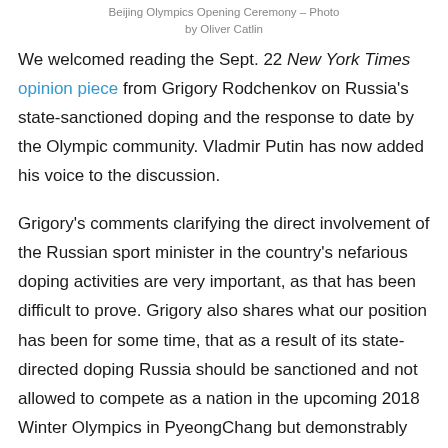Beijing Olympics Opening Ceremony – Photo by Oliver Catlin
We welcomed reading the Sept. 22 New York Times opinion piece from Grigory Rodchenkov on Russia's state-sanctioned doping and the response to date by the Olympic community. Vladmir Putin has now added his voice to the discussion.
Grigory's comments clarifying the direct involvement of the Russian sport minister in the country's nefarious doping activities are very important, as that has been difficult to prove. Grigory also shares what our position has been for some time, that as a result of its state-directed doping Russia should be sanctioned and not allowed to compete as a nation in the upcoming 2018 Winter Olympics in PyeongChang but demonstrably clean Russian athletes should be allowed to compete under a neutral flag